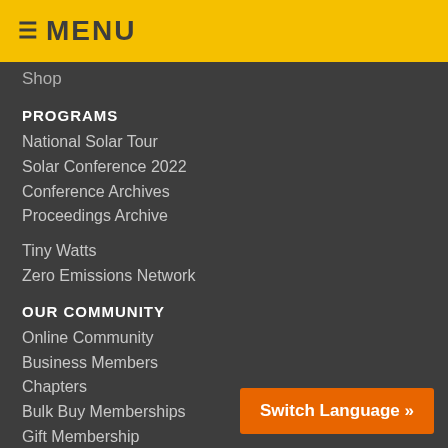≡ MENU
Shop
PROGRAMS
National Solar Tour
Solar Conference 2022
Conference Archives
Proceedings Archive
Tiny Watts
Zero Emissions Network
OUR COMMUNITY
Online Community
Business Members
Chapters
Bulk Buy Memberships
Gift Membership
Media Partners
EDUCATION
ASES Webinar Series
Solar Energy Workbook
Switch Language »